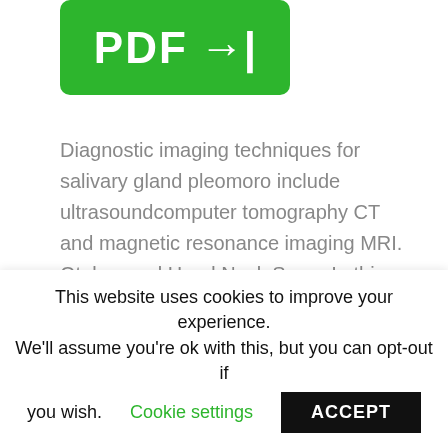[Figure (other): Green PDF button with right arrow icon]
Diagnostic imaging techniques for salivary gland pleomoro include ultrasoundcomputer tomography CT and magnetic resonance imaging MRI. Otolaryngol Head Neck Surg ; In this regard, a iatrogenic theory has been proposed. Mixed Tumor of the septum.
Report of a case. Within medical history he does not refer to anything of importance. Classically it is
This website uses cookies to improve your experience. We'll assume you're ok with this, but you can opt-out if you wish. Cookie settings ACCEPT